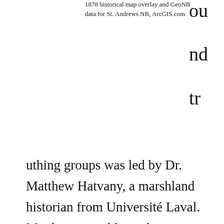1878 historical map overlay and GeoNB data for St. Andrews NB, ArcGIS.com
uthing groups was led by Dr. Matthew Hatvany, a marshland historian from Université Laval. Matthew was able to show workshop participants the marsh as it appeared on his handheld GPS device, and those carrying paper maps and smartphones with the ESRI ArcGIS app could compare their surroundings to features on the